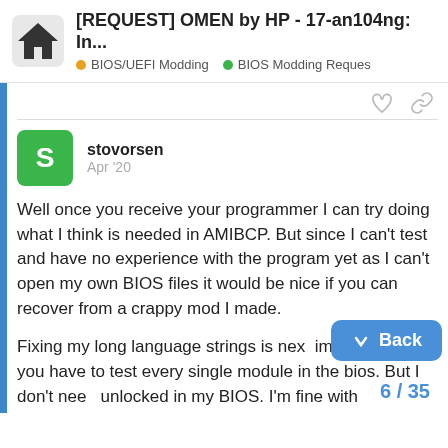[REQUEST] OMEN by HP - 17-an104ng: In... | BIOS/UEFI Modding | BIOS Modding Reques
stovorsen Apr '20
Well once you receive your programmer I can try doing what I think is needed in AMIBCP. But since I can't test and have no experience with the program yet as I can't open my own BIOS files it would be nice if you can recover from a crappy mod I made.
Fixing my long language strings is next impossible as you have to test every single module in the bios. But I don't nee unlocked in my BIOS. I'm fine with